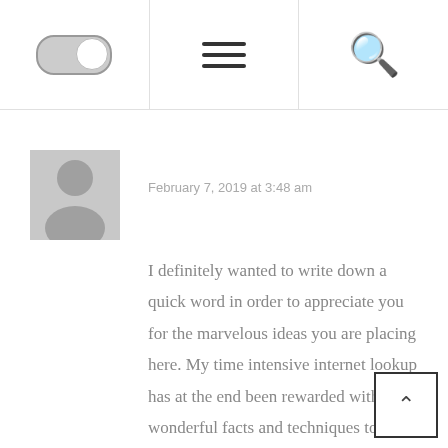Navigation bar with toggle switch, hamburger menu, and search icon
[Figure (screenshot): User avatar placeholder (grey silhouette on grey background)]
February 7, 2019 at 3:48 am
I definitely wanted to write down a quick word in order to appreciate you for the marvelous ideas you are placing here. My time intensive internet lookup has at the end been rewarded with wonderful facts and techniques to share with my two friends. I would express that we readers are undoubtedly fortunate to live in a fine place with very many brilliant individuals with very helpful things. I feel pretty happy to have come